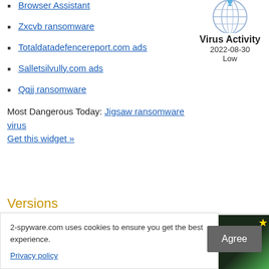[Figure (illustration): Globe icon with grid lines and signal dot above, for Virus Activity widget]
Virus Activity
2022-08-30
Low
Browser Assistant
Zxcvb ransomware
Totaldatadefencereport.com ads
Salletsilvully.com ads
Qqjj ransomware
Most Dangerous Today: Jigsaw ransomware virus
Get this widget »
Versions
How to remove Hihikal.ru virus
Remove Teryeru.ru virus
2-spyware.com uses cookies to ensure you get the best experience.
Privacy policy
Agree
[Figure (photo): Advertisement image placeholder, dark background with green gradient and gold star]